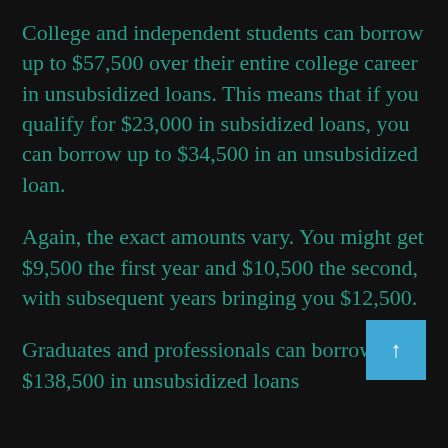College and independent students can borrow up to $57,500 over their entire college career in unsubsidized loans. This means that if you qualify for $23,000 in subsidized loans, you can borrow up to $34,500 in an unsubsidized loan.
Again, the exact amounts vary. You might get $9,500 the first year and $10,500 the second, with subsequent years bringing you $12,500.
Graduates and professionals can borrow up to $138,500 in unsubsidized loans